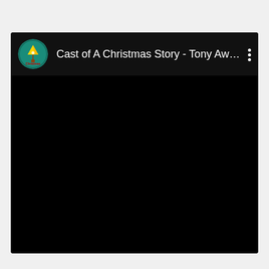[Figure (screenshot): A YouTube video player screenshot on a dark background showing a video titled 'Cast of A Christmas Story - Tony Awa...' with a circular channel avatar showing a Christmas Story lamp logo on a teal background. The video content area is entirely black. A three-dot menu icon is visible in the top right of the player header.]